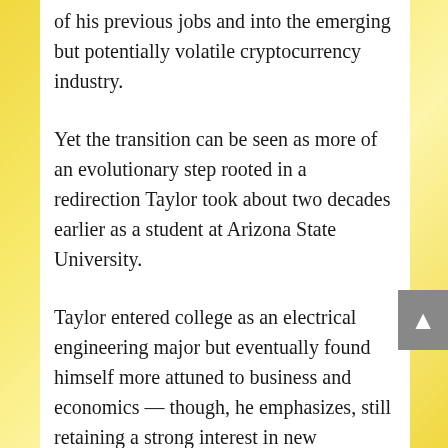of his previous jobs and into the emerging but potentially volatile cryptocurrency industry.
Yet the transition can be seen as more of an evolutionary step rooted in a redirection Taylor took about two decades earlier as a student at Arizona State University.
Taylor entered college as an electrical engineering major but eventually found himself more attuned to business and economics — though, he emphasizes, still retaining a strong interest in new technologies.
That mix of motivating factors has played out in the years since graduating from ASU with a bachelor's degree in business management in 1999.